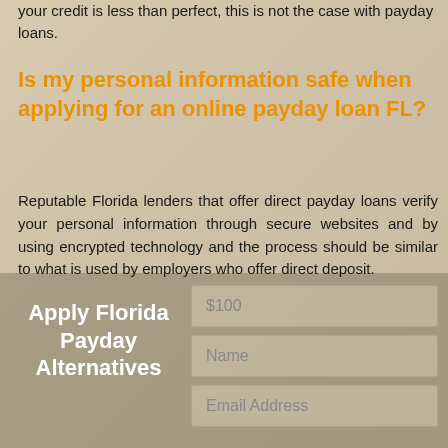your credit is less than perfect, this is not the case with payday loans.
Is my personal information safe when applying for an online payday loan FL?
Reputable Florida lenders that offer direct payday loans verify your personal information through secure websites and by using encrypted technology and the process should be similar to what is used by employers who offer direct deposit.
[Figure (infographic): Form section with heading 'Apply Florida Payday Alternatives' on the left and three input fields on the right: $100, Name, Email Address]
$100
Name
Email Address